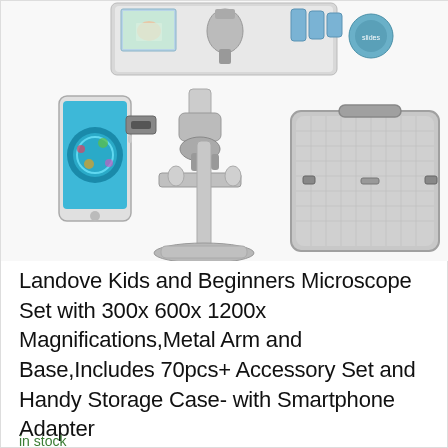[Figure (photo): Product photo collage showing a microscope kit with smartphone adapter attached, a carry case, and a top view of the open kit case with accessories and lenses.]
Landove Kids and Beginners Microscope Set with 300x 600x 1200x Magnifications,Metal Arm and Base,Includes 70pcs+ Accessory Set and Handy Storage Case- with Smartphone Adapter
in stock